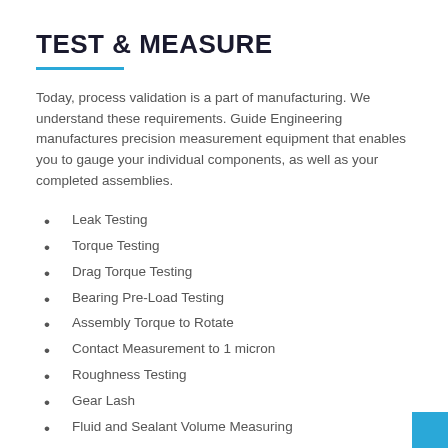TEST & MEASURE
Today, process validation is a part of manufacturing. We understand these requirements. Guide Engineering manufactures precision measurement equipment that enables you to gauge your individual components, as well as your completed assemblies.
Leak Testing
Torque Testing
Drag Torque Testing
Bearing Pre-Load Testing
Assembly Torque to Rotate
Contact Measurement to 1 micron
Roughness Testing
Gear Lash
Fluid and Sealant Volume Measuring